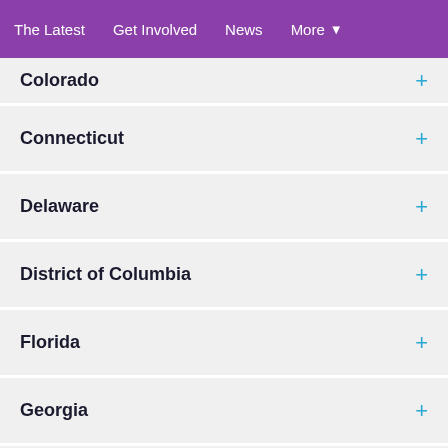The Latest  Get Involved  News  More
Colorado
Connecticut
Delaware
District of Columbia
Florida
Georgia
Idaho
Illinois